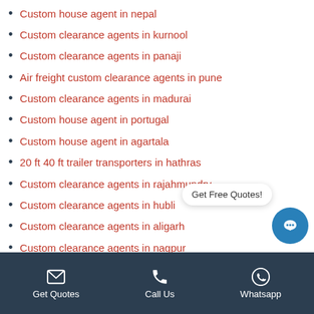Custom house agent in nepal
Custom clearance agents in kurnool
Custom clearance agents in panaji
Air freight custom clearance agents in pune
Custom clearance agents in madurai
Custom house agent in portugal
Custom house agent in agartala
20 ft 40 ft trailer transporters in hathras
Custom clearance agents in rajahmundry
Custom clearance agents in hubli
Custom clearance agents in aligarh
Custom clearance agents in nagpur
Air freight custom clearance agent in gujarat
20 ft 40 ft trailer transporters in ambala
20 ft 40 ft trailer transporters in punjab
Get Quotes | Call Us | Whatsapp